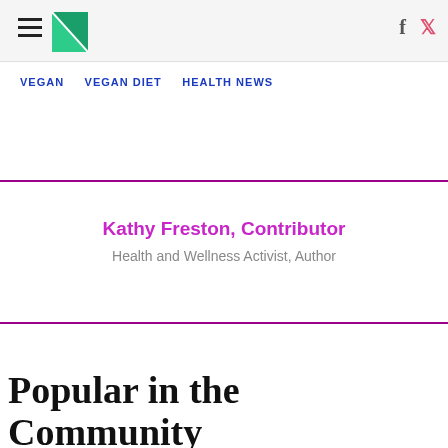HuffPost — hamburger menu, logo, social icons (Facebook, Twitter)
VEGAN   VEGAN DIET   HEALTH NEWS
Kathy Freston, Contributor
Health and Wellness Activist, Author
Popular in the Community